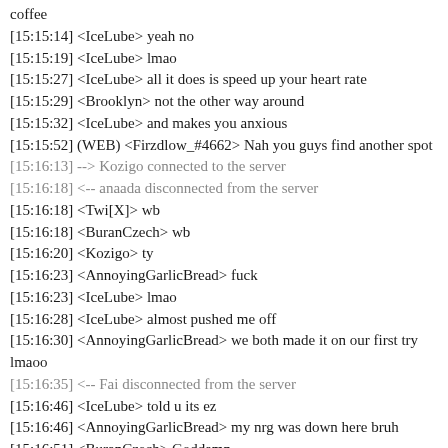coffee
[15:15:14] <IceLube> yeah no
[15:15:19] <IceLube> lmao
[15:15:27] <IceLube> all it does is speed up your heart rate
[15:15:29] <Brooklyn> not the other way around
[15:15:32] <IceLube> and makes you anxious
[15:15:52] (WEB) <Firzdlow_#4662> Nah you guys find another spot
[15:16:13] --> Kozigo connected to the server
[15:16:18] <-- anaada disconnected from the server
[15:16:18] <Twi[X]> wb
[15:16:18] <BuranCzech> wb
[15:16:20] <Kozigo> ty
[15:16:23] <AnnoyingGarlicBread> fuck
[15:16:23] <IceLube> lmao
[15:16:28] <IceLube> almost pushed me off
[15:16:30] <AnnoyingGarlicBread> we both made it on our first try lmaoo
[15:16:35] <-- Fai disconnected from the server
[15:16:46] <IceLube> told u its ez
[15:16:46] <AnnoyingGarlicBread> my nrg was down here bruh
[15:16:51] <BuranCzech> Goddamn
[15:16:56] <IceLube> on my screen it was up with me
[15:17:09] <IceLube> why you going so much back
[15:17:54] <Twi[X]> lets go